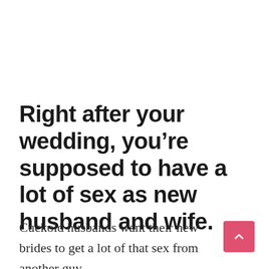Right after your wedding, you’re supposed to have a lot of sex as new husband and wife.
Cuckold husbands want their new brides to get a lot of that sex from another guy.